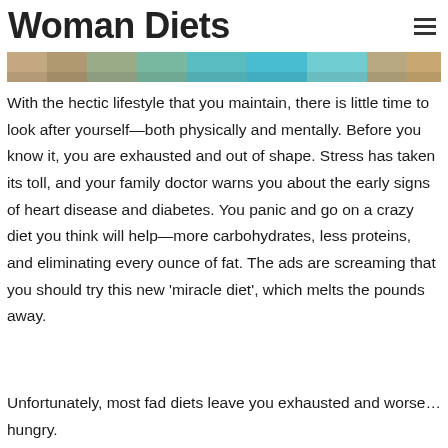Woman Diets
[Figure (photo): Partial photo showing feet/shoes on rocky terrain with teal/turquoise colored sneakers visible at the bottom of the image]
With the hectic lifestyle that you maintain, there is little time to look after yourself—both physically and mentally. Before you know it, you are exhausted and out of shape. Stress has taken its toll, and your family doctor warns you about the early signs of heart disease and diabetes. You panic and go on a crazy diet you think will help—more carbohydrates, less proteins, and eliminating every ounce of fat. The ads are screaming that you should try this new 'miracle diet', which melts the pounds away.
Unfortunately, most fad diets leave you exhausted and worse… hungry.